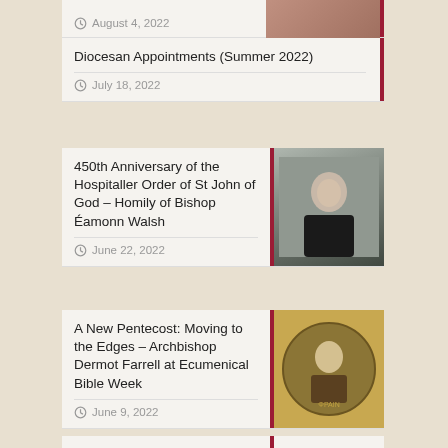August 4, 2022
Diocesan Appointments (Summer 2022)
July 18, 2022
450th Anniversary of the Hospitaller Order of St John of God – Homily of Bishop Éamonn Walsh
June 22, 2022
A New Pentecost: Moving to the Edges – Archbishop Dermot Farrell at Ecumenical Bible Week
June 9, 2022
Synodal Pathway report and letter from